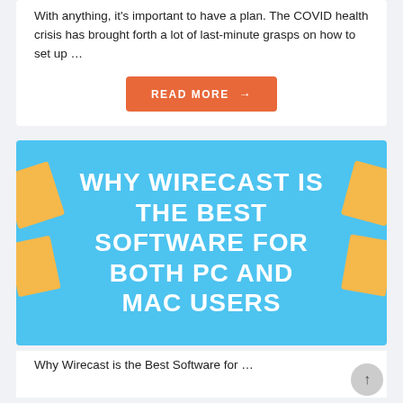With anything, it's important to have a plan. The COVID health crisis has brought forth a lot of last-minute grasps on how to set up …
READ MORE →
[Figure (illustration): Blue banner image with large bold white text reading 'WHY WIRECAST IS THE BEST SOFTWARE FOR BOTH PC AND MAC USERS' and decorative orange/yellow geometric shapes on left and right sides]
Why Wirecast is the Best Software for …